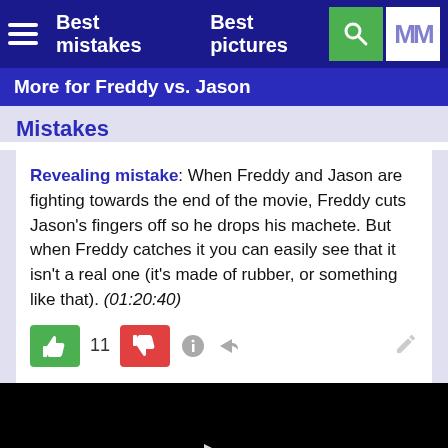Best mistakes   Best pictures
More for Freddy vs. Jason
Mistakes
Revealing mistake: When Freddy and Jason are fighting towards the end of the movie, Freddy cuts Jason's fingers off so he drops his machete. But when Freddy catches it you can easily see that it isn't a real one (it's made of rubber, or something like that). (01:20:40)
[Figure (screenshot): Black video player area with white play button triangle in center]